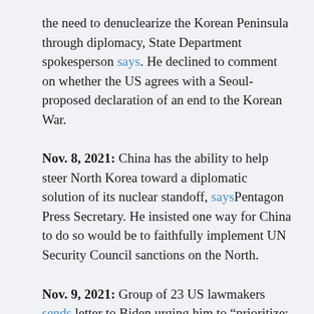the need to denuclearize the Korean Peninsula through diplomacy, State Department spokesperson says. He declined to comment on whether the US agrees with a Seoul-proposed declaration of an end to the Korean War.
Nov. 8, 2021: China has the ability to help steer North Korea toward a diplomatic solution of its nuclear standoff, says Pentagon Press Secretary. He insisted one way for China to do so would be to faithfully implement UN Security Council sanctions on the North.
Nov. 9, 2021: Group of 23 US lawmakers sends letter to Biden urging him to “prioritize: engagement with North Korea and support a formal declaration to end the Korean War.